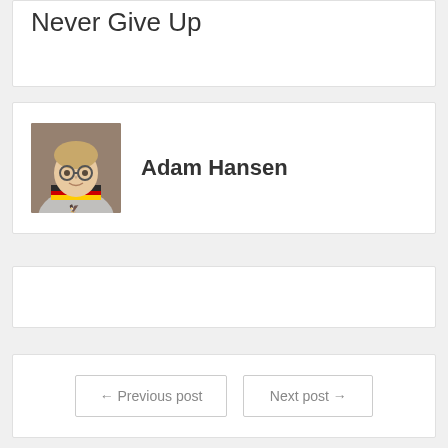Never Give Up
Adam Hansen
[Figure (photo): Portrait photo of Adam Hansen wearing a Germany scarf and grey hoodie, brown blurred background]
← Previous post   Next post →